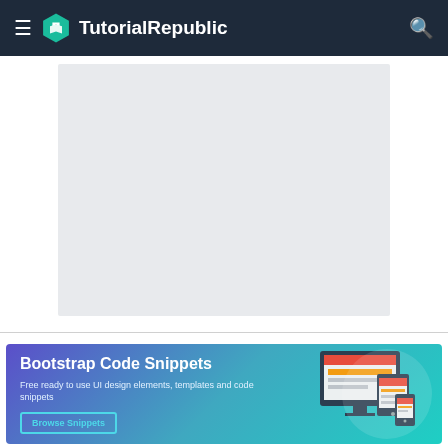TutorialRepublic
[Figure (other): Gray placeholder content area rectangle]
[Figure (infographic): Bootstrap Code Snippets promotional banner with devices illustration. Text: 'Bootstrap Code Snippets', 'Free ready to use UI design elements, templates and code snippets', 'Browse Snippets' button.]